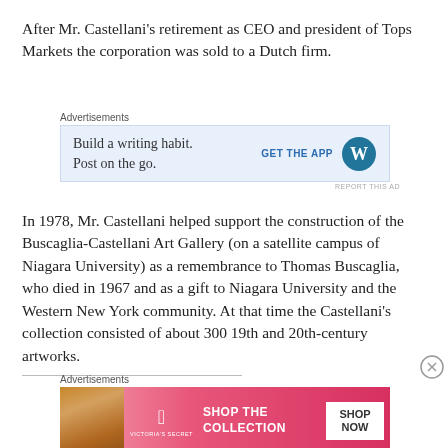After Mr. Castellani's retirement as CEO and president of Tops Markets the corporation was sold to a Dutch firm.
[Figure (other): WordPress advertisement: 'Build a writing habit. Post on the go. GET THE APP [WordPress logo]']
In 1978, Mr. Castellani helped support the construction of the Buscaglia-Castellani Art Gallery (on a satellite campus of Niagara University) as a remembrance to Thomas Buscaglia, who died in 1967 and as a gift to Niagara University and the Western New York community. At that time the Castellani's collection consisted of about 300 19th and 20th-century artworks.
[Figure (other): Victoria's Secret advertisement: 'SHOP THE COLLECTION SHOP NOW']